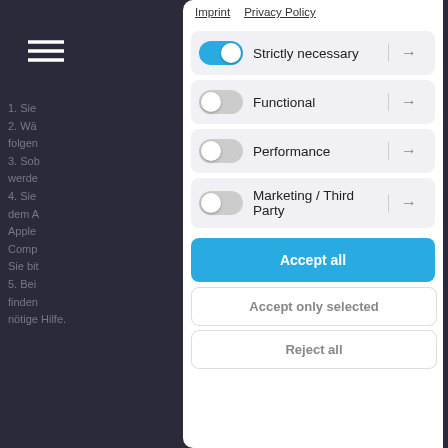[Figure (screenshot): Dark background with German text partially visible behind a cookie consent dialog]
Imprint   Privacy Policy
Strictly necessary
Functional
Performance
Marketing / Third Party
Accept all
Accept only selected
Reject all